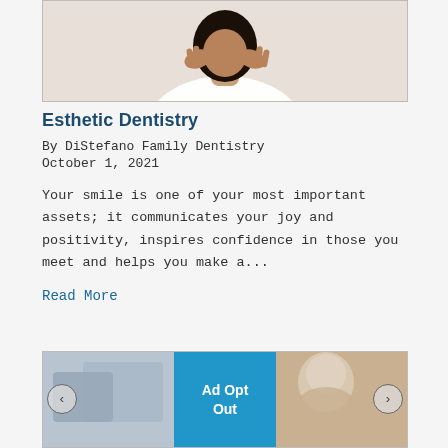[Figure (photo): Woman in white t-shirt with curly hair, hands near face, against light background — partial upper body view]
Esthetic Dentistry
By DiStefano Family Dentistry
October 1, 2021
Your smile is one of your most important assets; it communicates your joy and positivity, inspires confidence in those you meet and helps you make a...
Read More
[Figure (photo): Partial view of dental office/patient scene on left and right, with blue 'Ad Opt Out' overlay in center, navigation arrows on sides]